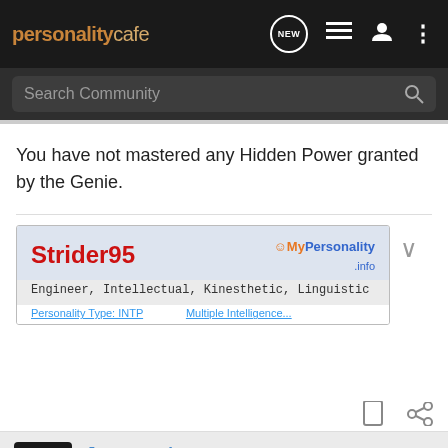personalitycafe
You have not mastered any Hidden Power granted by the Genie.
[Figure (other): User signature banner for Strider95 showing name in red, MyPersonality.info logo, and traits: Engineer, Intellectual, Kinesthetic, Linguistic]
Jennywocky · Maid of Time 🇺🇸
549 sx/sp